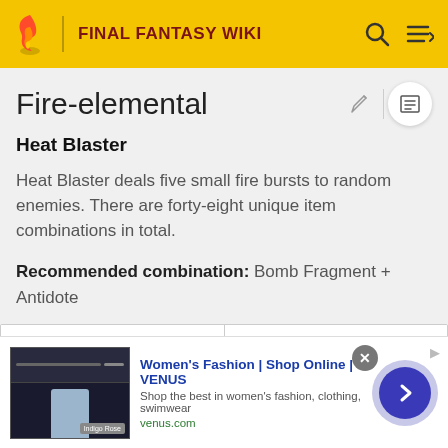FINAL FANTASY WIKI
Fire-elemental
Heat Blaster
Heat Blaster deals five small fire bursts to random enemies. There are forty-eight unique item combinations in total.
Recommended combination: Bomb Fragment + Antidote
| Item #1 | Item #2 |
| --- | --- |